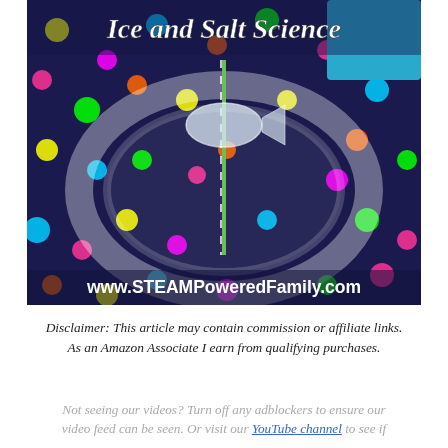[Figure (photo): Photo of an ice fish shape on a green striped straw in a clear glass bowl, placed on a dark navy polka-dot background with colorful dots. Text overlay at top reads 'Ice and Salt Science' in white italic font. Text overlay at bottom reads 'www.STEAMPoweredFamily.com' in white bold font. A blue container is partially visible in the top right corner.]
Disclaimer: This article may contain commission or affiliate links. As an Amazon Associate I earn from qualifying purchases.
Not seeing our videos? Turn off any adblockers to ensure our video feed can be seen. Or visit our YouTube channel to see if